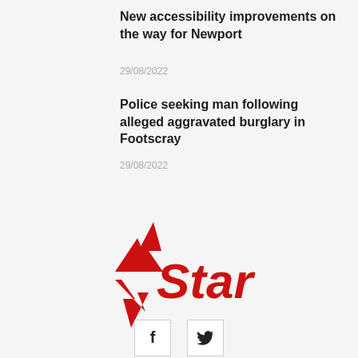New accessibility improvements on the way for Newport
29/08/2022
Police seeking man following alleged aggravated burglary in Footscray
29/08/2022
[Figure (logo): Star newspaper logo — red star/lightning bolt graphic with italic bold red text 'Star']
[Figure (other): Social media icons: Facebook (f) and Twitter (bird) in white boxes with light border]